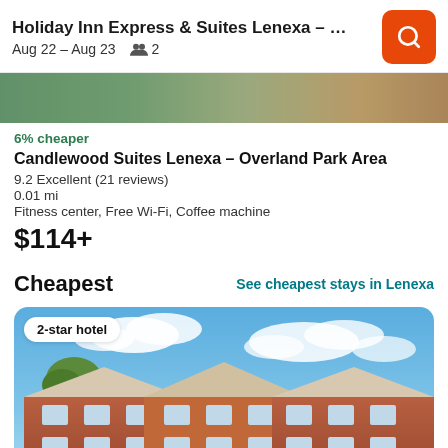Holiday Inn Express & Suites Lenexa – Overla…
Aug 22 – Aug 23  👥 2
[Figure (photo): Partial hotel exterior photo strip at top of listing]
6% cheaper
Candlewood Suites Lenexa – Overland Park Area
9.2 Excellent (21 reviews)
0.01 mi
Fitness center, Free Wi-Fi, Coffee machine
$114+
Cheapest
See cheapest stays in Lenexa
[Figure (photo): 2-star hotel exterior photo showing red brick multi-story building with gabled rooflines under blue sky with clouds; badge reads '2-star hotel']